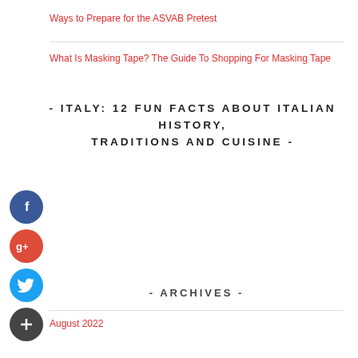Ways to Prepare for the ASVAB Pretest
What Is Masking Tape? The Guide To Shopping For Masking Tape
- ITALY: 12 FUN FACTS ABOUT ITALIAN HISTORY, TRADITIONS AND CUISINE -
[Figure (infographic): Social media share buttons: Facebook (blue), Google+ (red), Twitter (light blue), More/Plus (dark gray)]
- ARCHIVES -
August 2022